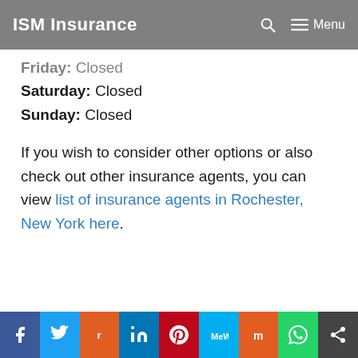ISM Insurance
Friday: Closed
Saturday: Closed
Sunday: Closed
If you wish to consider other options or also check out other insurance agents, you can view list of insurance agents in Rochester, New York here.
Social share bar: Facebook, Twitter, Reddit, LinkedIn, Pinterest, MeWe, Mix, WhatsApp, Share